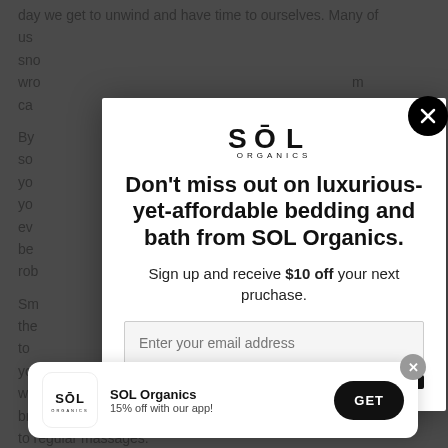day we get to unwind and have time to ourselves. Many of us [obscured] sn[obscured] wr[obscured] m ca[obscured]
By [obscured] so[obscured] y[obscured] y[obscured] ev[obscured] be[obscured] rob[obscured]
[Figure (screenshot): SOL Organics modal popup with logo, headline, email signup, and app install banner]
Sm[obscured] the[obscured] e, to[obscured] y[obscured] w[obscured] br[obscured] self to regular massages.